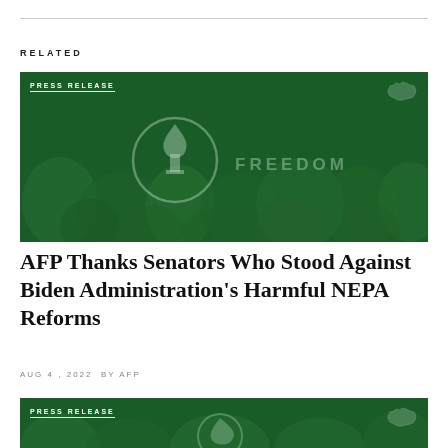RELATED
[Figure (photo): Green-tinted crowd photo with AFP torch logo and FREEDOM text overlay, labeled PRESS RELEASE]
AFP Thanks Senators Who Stood Against Biden Administration's Harmful NEPA Reforms
AUG 4, 2022 BY AFP
[Figure (photo): Green-tinted crowd photo with AFP torch logo overlay, labeled PRESS RELEASE]